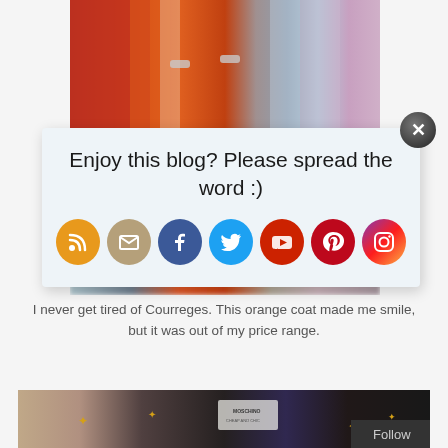[Figure (photo): Top portion of a clothing rack with colorful garments including orange/red coats and multicolored fabrics]
Enjoy this blog? Please spread the word :)
[Figure (infographic): Row of social media icon circles: RSS (orange), Email (tan/gold), Facebook (blue), Twitter (light blue), YouTube (red), Pinterest (dark red), Instagram (gradient purple-pink-orange)]
[Figure (photo): Blurred mid-section of clothing rack with orange coat visible]
I never get tired of Courreges. This orange coat made me smile, but it was out of my price range.
[Figure (photo): Person holding up a black Moschino jacket with gold star/flower embellishments, showing the label]